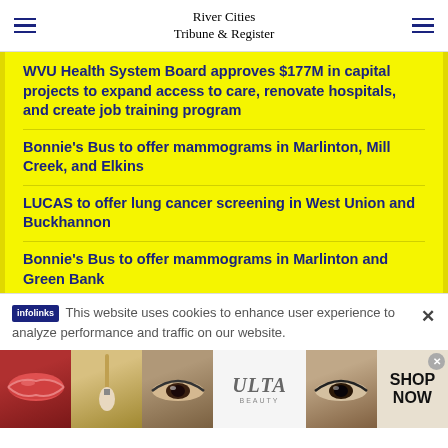River Cities Tribune & Register
WVU Health System Board approves $177M in capital projects to expand access to care, renovate hospitals, and create job training program
Bonnie's Bus to offer mammograms in Marlinton, Mill Creek, and Elkins
LUCAS to offer lung cancer screening in West Union and Buckhannon
Bonnie's Bus to offer mammograms in Marlinton and Green Bank
This website uses cookies to enhance user experience to analyze performance and traffic on our website.
[Figure (other): Ulta Beauty advertisement banner showing makeup images (lips, brush, eye makeup) with ULTA Beauty logo and SHOP NOW call to action]